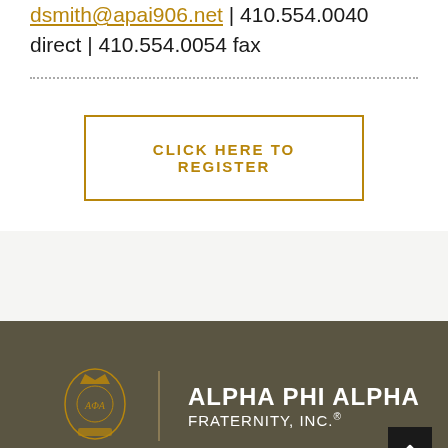dsmith@apai906.net | 410.554.0040 direct | 410.554.0054 fax
CLICK HERE TO REGISTER
[Figure (logo): Alpha Phi Alpha Fraternity, Inc. logo with crest and organization name in white text on dark olive/brown background]